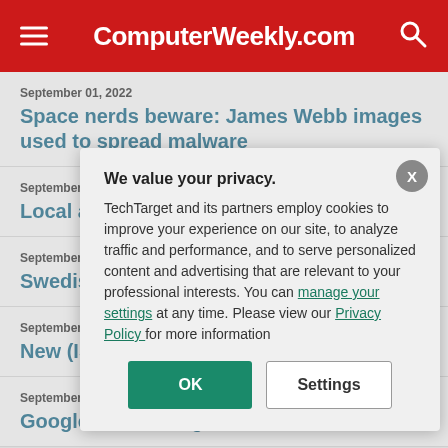ComputerWeekly.com
September 01, 2022
Space nerds beware: James Webb images used to spread malware
September 01, 2022
Local authorities warned of attempted cyber
September 01, 2022
Swedish Elections coincides w
September 01,
New (ISC)²
September 01,
Google wo Israeli gove
We value your privacy. TechTarget and its partners employ cookies to improve your experience on our site, to analyze traffic and performance, and to serve personalized content and advertising that are relevant to your professional interests. You can manage your settings at any time. Please view our Privacy Policy for more information